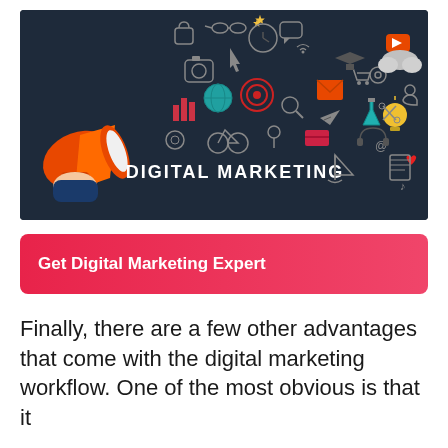[Figure (illustration): Digital marketing concept illustration with a megaphone/bullhorn held by a hand, surrounded by floating digital icons (social media, email, globe, camera, clock, shopping cart, etc.) on a dark navy background, with the text 'DIGITAL MARKETING' in white capital letters.]
Get Digital Marketing Expert
Finally, there are a few other advantages that come with the digital marketing workflow. One of the most obvious is that it